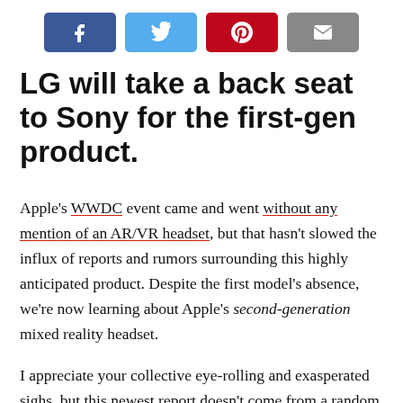[Figure (other): Social sharing buttons: Facebook (blue), Twitter (light blue), Pinterest (red), Email (gray)]
LG will take a back seat to Sony for the first-gen product.
Apple's WWDC event came and went without any mention of an AR/VR headset, but that hasn't slowed the influx of reports and rumors surrounding this highly anticipated product. Despite the first model's absence, we're now learning about Apple's second-generation mixed reality headset.
I appreciate your collective eye-rolling and exasperated sighs, but this newest report doesn't come from a random Twitter user coming up with specs and numbers. Rather, it was reported by the reliable South Korean outfit The Elec, which claims LG Display will attempt to